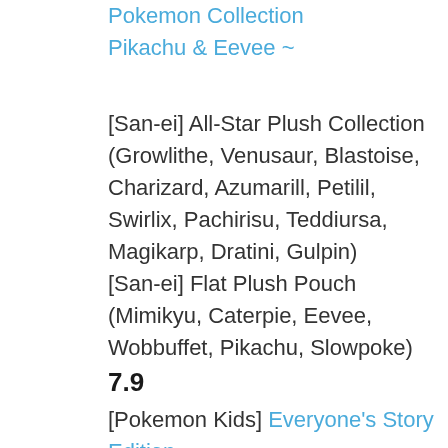[ichiban Kuji] Pokemon Collection Pikachu & Eevee ~
[San-ei] All-Star Plush Collection (Growlithe, Venusaur, Blastoise, Charizard, Azumarill, Petilil, Swirlix, Pachirisu, Teddiursa, Magikarp, Dratini, Gulpin)
[San-ei] Flat Plush Pouch (Mimikyu, Caterpie, Eevee, Wobbuffet, Pikachu, Slowpoke)
7.9
[Pokemon Kids] Everyone's Story Edition (Ash's Pikachu, Lugia, Eevee, Sudowoodo,